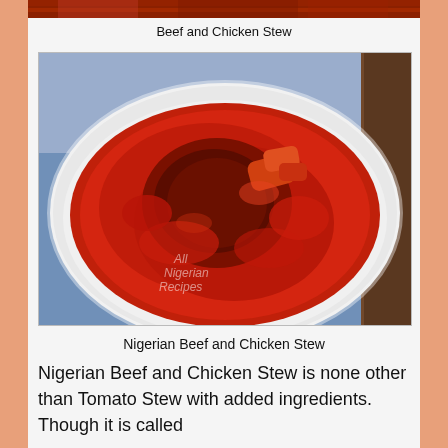[Figure (photo): Partial top view of Beef and Chicken Stew in a red tomato-based sauce]
Beef and Chicken Stew
[Figure (photo): Nigerian Beef and Chicken Stew served in a white bowl, covered in rich red tomato stew with visible meat pieces, watermarked 'All Nigerian Recipes']
Nigerian Beef and Chicken Stew
Nigerian Beef and Chicken Stew is none other than Tomato Stew with added ingredients. Though it is called